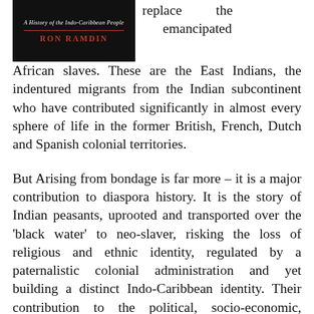[Figure (illustration): Book cover with black background, subtitle 'A History of the Indo-Caribbean People', red divider line, and author name 'RON RAMDIN' in red text]
replace the emancipated African slaves. These are the East Indians, the indentured migrants from the Indian subcontinent who have contributed significantly in almost every sphere of life in the former British, French, Dutch and Spanish colonial territories.
But Arising from bondage is far more – it is a major contribution to diaspora history. It is the story of Indian peasants, uprooted and transported over the 'black water' to neo-slaver, risking the loss of religious and ethnic identity, regulated by a paternalistic colonial administration and yet building a distinct Indo-Caribbean identity. Their contribution to the political, socio-economic, religious and cultural life of the region ultimately extended to North